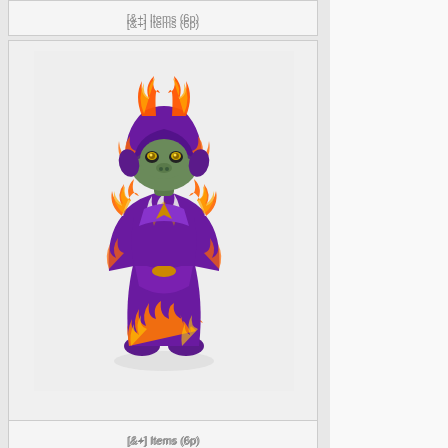[&+] Items (6p)
[Figure (illustration): A small fantasy game character (kobold or similar creature) wearing elaborate purple and flame-trimmed armor/robes with fire accents, horned hood, and glowing eyes, shown in a full-body frontal pose.]
[&+] Items (6p)